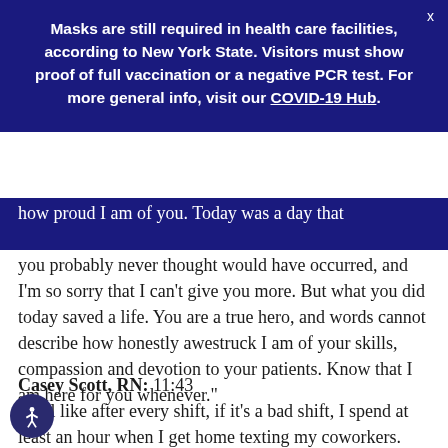Masks are still required in health care facilities, according to New York State. Visitors must show proof of full vaccination or a negative PCR test. For more general info, visit our COVID-19 Hub.
how proud I am of you. Today was a day that you probably never thought would have occurred, and I'm so sorry that I can't give you more. But what you did today saved a life. You are a true hero, and words cannot describe how honestly awestruck I am of your skills, compassion and devotion to your patients. Know that I am here for you whenever."
Casey Scott, RN: 11:43
I feel like after every shift, if it's a bad shift, I spend at least an hour when I get home texting my coworkers. Not like, I wouldn't say like a therapy group or like a support group or anything like that. Mostly we text about